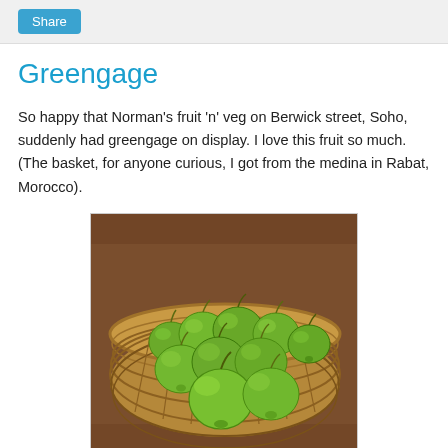Share
Greengage
So happy that Norman's fruit 'n' veg on Berwick street, Soho, suddenly had greengage on display. I love this fruit so much. (The basket, for anyone curious, I got from the medina in Rabat, Morocco).
[Figure (photo): A wicker basket filled with green greengage plums (a type of plum), sitting on a wooden surface. The fruits are round and bright green.]